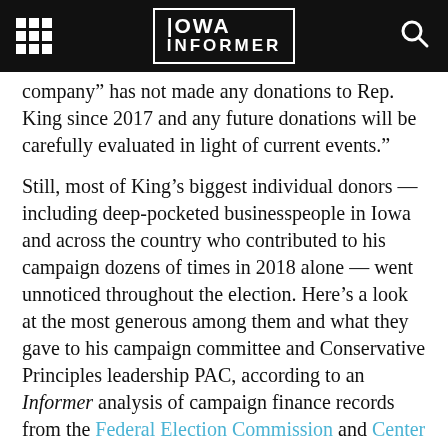Iowa Informer
company” has not made any donations to Rep. King since 2017 and any future donations will be carefully evaluated in light of current events.”
Still, most of King’s biggest individual donors — including deep-pocketed businesspeople in Iowa and across the country who contributed to his campaign dozens of times in 2018 alone — went unnoticed throughout the election. Here’s a look at the most generous among them and what they gave to his campaign committee and Conservative Principles leadership PAC, according to an Informer analysis of campaign finance records from the Federal Election Commission and Center for Responsive Politics.
Michael and Margie Bennett of Jefferson, South Dakota